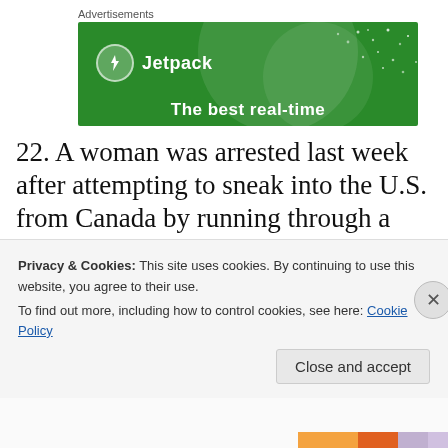Advertisements
[Figure (illustration): Jetpack advertisement banner on green background with large semi-transparent circle, white dots, Jetpack logo and text 'The best real-time...']
22. A woman was arrested last week after attempting to sneak into the U.S. from Canada by running through a library that straddles the border between Quebec and
Privacy & Cookies: This site uses cookies. By continuing to use this website, you agree to their use.
To find out more, including how to control cookies, see here: Cookie Policy
Close and accept